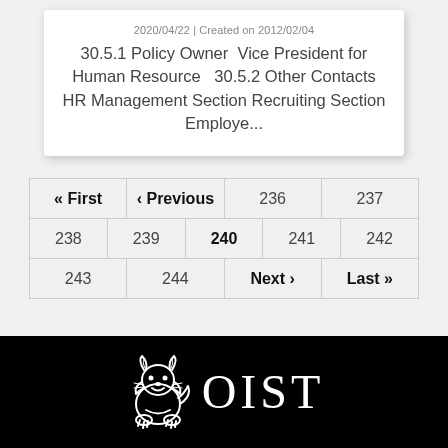2020/04/22 | Created on 2012/02/04
30.5.1 Policy Owner  Vice President for Human Resource   30.5.2 Other Contacts HR Management Section Recruiting Section Employe...
« First
‹ Previous
236
237
238
239
240
241
242
243
244
Next ›
Last »
[Figure (logo): OIST logo — white shisa lion illustration and white OIST text on black background]